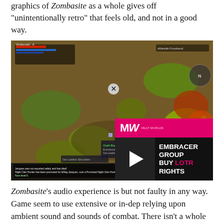graphics of Zombasite as a whole gives off "unintentionally retro" that feels old, and not in a good way.
[Figure (screenshot): A top-down isometric view of the game Zombasite, showing a post-apocalyptic outdoor environment with trees, grass, and game UI elements including health bars, inventory, and combat text overlays. An advertisement overlay for 'EMBRACER GROUP BUY LOTR RIGHTS' from MULT WORLDS (MW) appears in the bottom-right corner with a play button.]
Zombasite's audio experience is but not faulty in any way. Game seem to use extensive or in-dep relying upon ambient sound and sounds of combat. There isn't a whole lot there, but what is there works well.